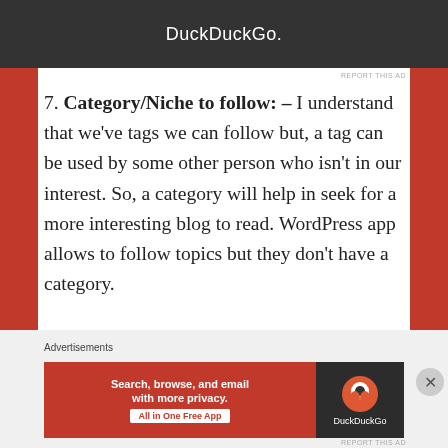[Figure (other): Top advertisement banner showing DuckDuckGo logo and brand name on dark background with orange side bars]
REPORT THIS AD
7. Category/Niche to follow: – I understand that we've tags we can follow but, a tag can be used by some other person who isn't in our interest. So, a category will help in seek for a more interesting blog to read. WordPress app allows to follow topics but they don't have a category.
Advertisements
[Figure (other): Bottom advertisement banner for DuckDuckGo: orange background with text 'Search, browse, and email with more privacy. All in One Free App' and DuckDuckGo logo on dark right panel]
REPORT THIS AD